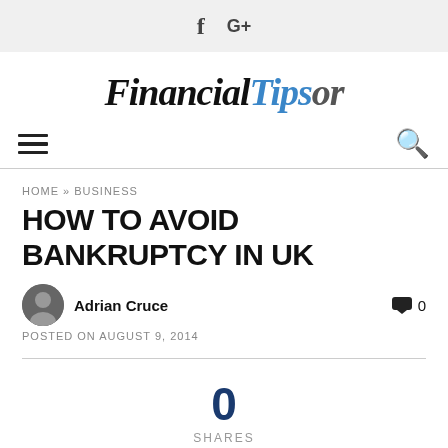f  G+
FinancialTipsor
[Figure (other): Hamburger menu icon (three horizontal lines) on left and search (magnifying glass) icon on right, navigation bar]
HOME » BUSINESS
HOW TO AVOID BANKRUPTCY IN UK
Adrian Cruce   💬 0
POSTED ON AUGUST 9, 2014
0
SHARES